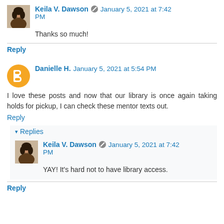Keila V. Dawson · January 5, 2021 at 7:42 PM
Thanks so much!
Reply
Danielle H. January 5, 2021 at 5:54 PM
I love these posts and now that our library is once again taking holds for pickup, I can check these mentor texts out.
Reply
▾ Replies
Keila V. Dawson · January 5, 2021 at 7:42 PM
YAY! It's hard not to have library access.
Reply